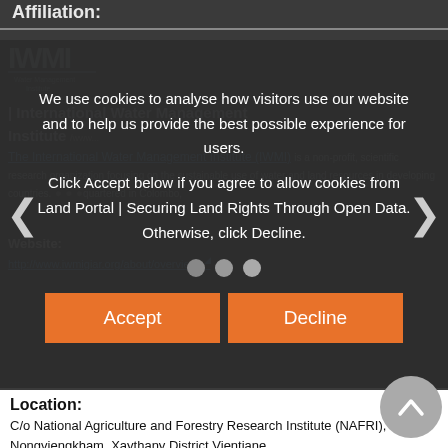Affiliation:
[Figure (logo): IWMI (International Water Management Institute) logo with stylized text and underline]
We use cookies to analyse how visitors use our website and to help us provide the best possible experience for users. Click Accept below if you agree to allow cookies from Land Portal | Securing Land Rights Through Open Data. Otherwise, click Decline.
Accept   Decline
The International Water Management Institute (IWMI) is a non-profit, scientific research organization focusing on the sustainable use of water and land resources in developing countries. ...headquartered in Colombo,
Website:
http://www.iwmigiar.org/about/overview/
Location:
C/o National Agriculture and Forestry Research Institute (NAFRI), Ban Nongviengkham, Xaythany District Vientiane
Laos
LA